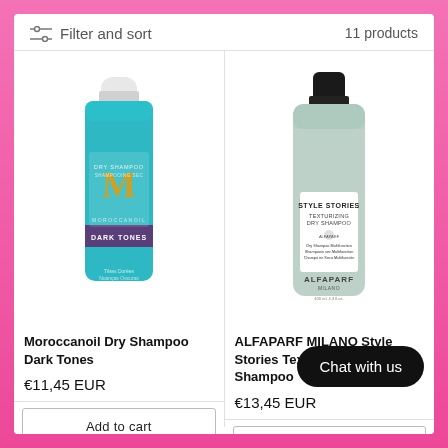Filter and sort
11 products
[Figure (photo): Moroccanoil Dry Shampoo Dark Tones product bottle — teal/turquoise aerosol can with gold M logo and dark tones label]
Moroccanoil Dry Shampoo Dark Tones
€11,45 EUR
[Figure (photo): ALFAPARF MILANO Style Stories Texturizing Dry Shampoo product bottle — mint green aerosol can with white label and black cap]
ALFAPARF MILANO Style Stories Texturizing Dry Shampoo
€13,45 EUR
Add to cart
Add to cart
Chat with us